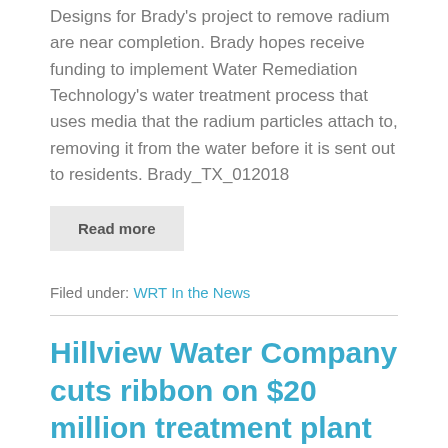Designs for Brady's project to remove radium are near completion. Brady hopes receive funding to implement Water Remediation Technology's water treatment process that uses media that the radium particles attach to, removing it from the water before it is sent out to residents. Brady_TX_012018
Read more
Filed under: WRT In the News
Hillview Water Company cuts ribbon on $20 million treatment plant project
wrtadmin | Posted on June 2, 2017